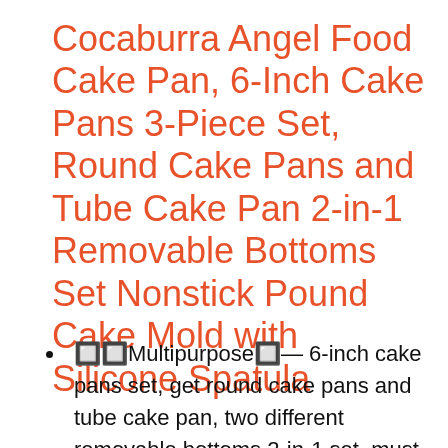Cocaburra Angel Food Cake Pan, 6-Inch Cake Pans 3-Piece Set, Round Cake Pans and Tube Cake Pan 2-in-1 Removable Bottoms Set Nonstick Pound Cake Mold with Silicone Spatula
🔲🔲Multipurpose🔲— 6-inch cake pans set, get round cake pans and tube cake pan, two different removable bottoms 2-in-1 set, must have tool